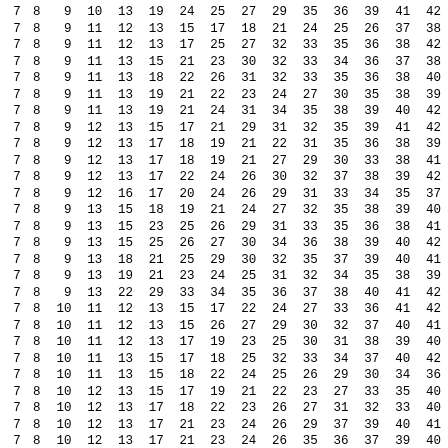| 7 | 8 | 9 | 10 | 13 | 19 | 24 | 25 | 27 | 29 | 35 | 36 | 39 | 41 | 42 |
| 7 | 8 | 9 | 11 | 12 | 13 | 15 | 17 | 18 | 21 | 24 | 25 | 26 | 37 | 38 |
| 7 | 8 | 9 | 11 | 12 | 13 | 17 | 25 | 27 | 32 | 33 | 35 | 36 | 38 | 42 |
| 7 | 8 | 9 | 11 | 13 | 15 | 21 | 23 | 30 | 32 | 33 | 34 | 36 | 37 | 38 |
| 7 | 8 | 9 | 11 | 13 | 18 | 22 | 26 | 31 | 32 | 33 | 35 | 36 | 38 | 40 |
| 7 | 8 | 9 | 11 | 13 | 19 | 21 | 22 | 23 | 24 | 27 | 30 | 35 | 38 | 39 |
| 7 | 8 | 9 | 11 | 13 | 19 | 21 | 24 | 31 | 34 | 35 | 38 | 39 | 40 | 42 |
| 7 | 8 | 9 | 12 | 13 | 15 | 17 | 21 | 29 | 31 | 32 | 35 | 39 | 41 | 42 |
| 7 | 8 | 9 | 12 | 13 | 17 | 18 | 19 | 21 | 22 | 31 | 35 | 36 | 38 | 39 |
| 7 | 8 | 9 | 12 | 13 | 17 | 18 | 19 | 21 | 27 | 29 | 30 | 33 | 38 | 41 |
| 7 | 8 | 9 | 12 | 13 | 17 | 22 | 24 | 26 | 30 | 32 | 37 | 38 | 39 | 42 |
| 7 | 8 | 9 | 12 | 16 | 17 | 20 | 24 | 26 | 29 | 31 | 33 | 34 | 35 | 37 |
| 7 | 8 | 9 | 13 | 15 | 18 | 19 | 21 | 24 | 27 | 32 | 35 | 38 | 39 | 40 |
| 7 | 8 | 9 | 13 | 15 | 23 | 25 | 26 | 29 | 31 | 33 | 35 | 36 | 38 | 41 |
| 7 | 8 | 9 | 13 | 15 | 25 | 26 | 27 | 30 | 34 | 36 | 38 | 39 | 40 | 42 |
| 7 | 8 | 9 | 13 | 18 | 21 | 25 | 29 | 30 | 32 | 35 | 37 | 39 | 40 | 41 |
| 7 | 8 | 9 | 13 | 19 | 21 | 23 | 24 | 25 | 31 | 32 | 34 | 35 | 38 | 39 |
| 7 | 8 | 9 | 13 | 22 | 29 | 33 | 34 | 35 | 36 | 37 | 38 | 40 | 41 | 42 |
| 7 | 8 | 10 | 11 | 12 | 13 | 15 | 17 | 22 | 24 | 27 | 33 | 36 | 41 | 42 |
| 7 | 8 | 10 | 11 | 12 | 13 | 15 | 26 | 27 | 29 | 30 | 32 | 37 | 40 | 41 |
| 7 | 8 | 10 | 11 | 12 | 13 | 17 | 19 | 23 | 25 | 30 | 31 | 38 | 39 | 40 |
| 7 | 8 | 10 | 11 | 13 | 15 | 17 | 18 | 25 | 32 | 33 | 34 | 37 | 40 | 42 |
| 7 | 8 | 10 | 11 | 13 | 15 | 18 | 22 | 24 | 25 | 26 | 29 | 30 | 34 | 36 |
| 7 | 8 | 10 | 12 | 13 | 15 | 17 | 19 | 21 | 22 | 23 | 27 | 33 | 35 | 40 |
| 7 | 8 | 10 | 12 | 13 | 17 | 18 | 22 | 23 | 26 | 27 | 31 | 32 | 33 | 40 |
| 7 | 8 | 10 | 12 | 13 | 17 | 21 | 23 | 24 | 26 | 29 | 37 | 39 | 40 | 41 |
| 7 | 8 | 10 | 12 | 13 | 17 | 21 | 23 | 24 | 26 | 35 | 36 | 37 | 39 | 40 |
| 7 | 8 | 10 | 12 | 13 | 17 | 23 | 24 | 26 | 29 | 35 | 37 | 38 | 40 | 41 |
| 7 | 8 | 10 | 12 | 13 | 18 | 23 | 24 | 27 | 29 | 30 | 31 | 36 | 37 | 42 |
| 7 | 8 | 10 | 13 | 15 | 18 | 21 | 22 | 24 | 29 | 30 | 31 | 34 | 36 | 41 |